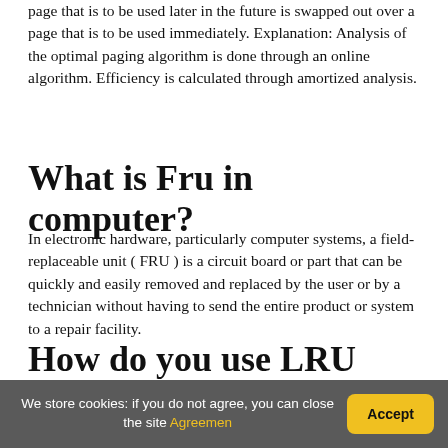page that is to be used later in the future is swapped out over a page that is to be used immediately. Explanation: Analysis of the optimal paging algorithm is done through an online algorithm. Efficiency is calculated through amortized analysis.
What is Fru in computer?
In electronic hardware, particularly computer systems, a field-replaceable unit ( FRU ) is a circuit board or part that can be quickly and easily removed and replaced by the user or by a technician without having to send the entire product or system to a repair facility.
How do you use LRU algorithm?
We store cookies: if you do not agree, you can close the site Agreemen